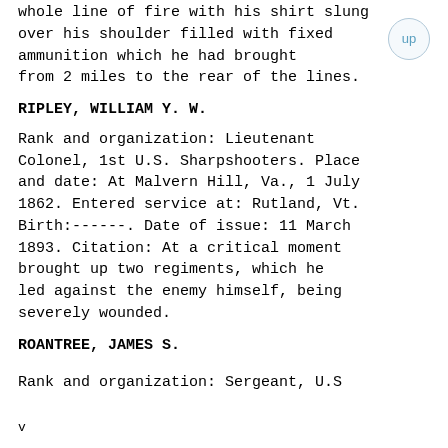whole line of fire with his shirt slung over his shoulder filled with fixed ammunition which he had brought from 2 miles to the rear of the lines.
RIPLEY, WILLIAM Y. W.
Rank and organization: Lieutenant Colonel, 1st U.S. Sharpshooters. Place and date: At Malvern Hill, Va., 1 July 1862. Entered service at: Rutland, Vt. Birth:------. Date of issue: 11 March 1893. Citation: At a critical moment brought up two regiments, which he led against the enemy himself, being severely wounded.
ROANTREE, JAMES S.
Rank and organization: Sergeant, U.S.
v